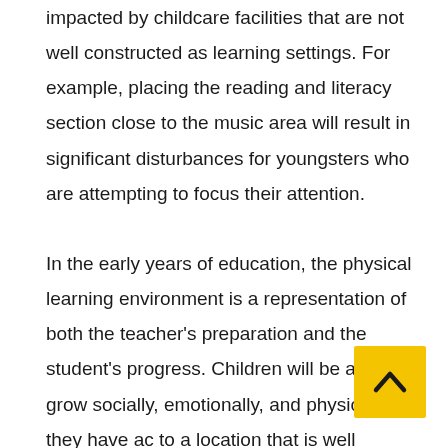impacted by childcare facilities that are not well constructed as learning settings. For example, placing the reading and literacy section close to the music area will result in significant disturbances for youngsters who are attempting to focus their attention.

In the early years of education, the physical learning environment is a representation of both the teacher's preparation and the student's progress. Children will be able to grow socially, emotionally, and physically if they have ac[cess] to a location that is well organised and comfortable. The child's age as well as the